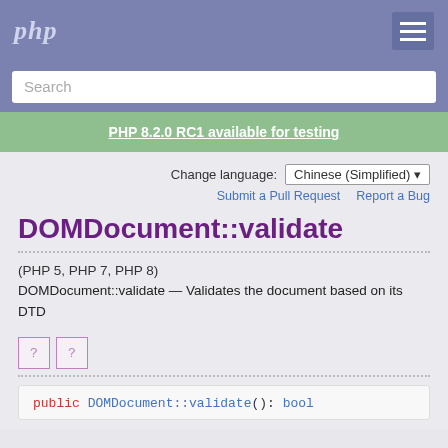php  [menu]
Search
PHP 8.2.0 RC1 available for testing
Change language: Chinese (Simplified)
Submit a Pull Request   Report a Bug
DOMDocument::validate
(PHP 5, PHP 7, PHP 8)
DOMDocument::validate — Validates the document based on its DTD
[Figure (other): Two small code/bookmark icons with question marks]
public DOMDocument::validate(): bool